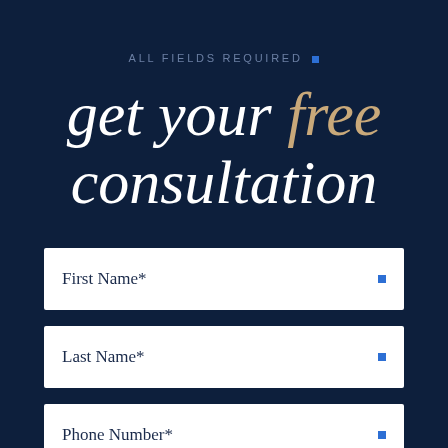ALL FIELDS REQUIRED •
get your free consultation
First Name*
Last Name*
Phone Number*